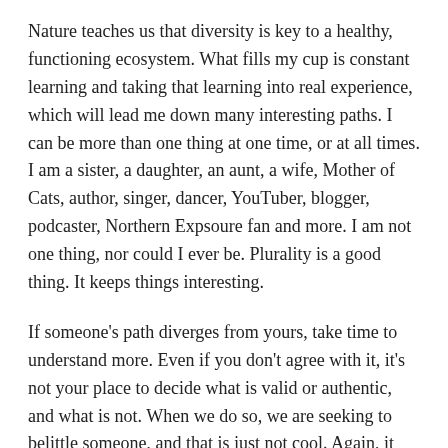Nature teaches us that diversity is key to a healthy, functioning ecosystem. What fills my cup is constant learning and taking that learning into real experience, which will lead me down many interesting paths. I can be more than one thing at one time, or at all times. I am a sister, a daughter, an aunt, a wife, Mother of Cats, author, singer, dancer, YouTuber, blogger, podcaster, Northern Expsoure fan and more. I am not one thing, nor could I ever be. Plurality is a good thing. It keeps things interesting.
If someone's path diverges from yours, take time to understand more. Even if you don't agree with it, it's not your place to decide what is valid or authentic, and what is not. When we do so, we are seeking to belittle someone, and that is just not cool. Again, it says more about us than it ever will about them.
No one can please everyone, and nor should anyone even try. For when we do so, that's when we are being inauthentic. That's when we lose sight of who we are, and who we aspire to be. Our